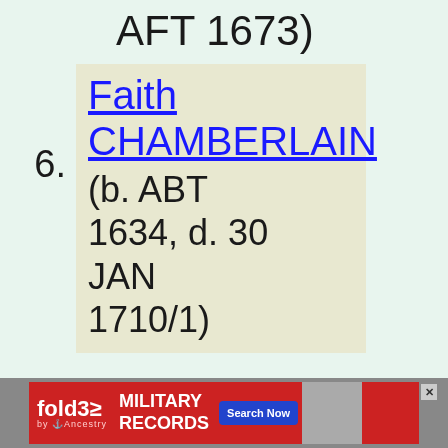AFT 1673)
6. Faith CHAMBERLAIN (b. ABT 1634, d. 30 JAN 1710/1)
[Figure (other): fold3 by Ancestry advertisement banner for Military Records with Search Now button]